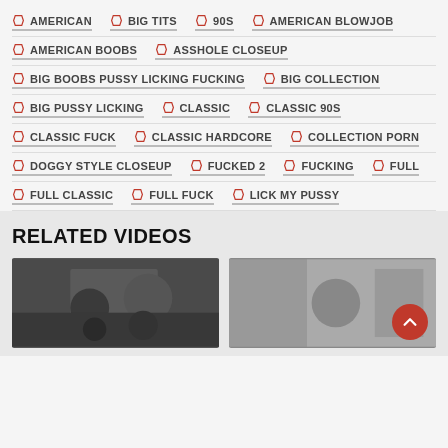AMERICAN | BIG TITS | 90S | AMERICAN BLOWJOB
AMERICAN BOOBS | ASSHOLE CLOSEUP
BIG BOOBS PUSSY LICKING FUCKING | BIG COLLECTION
BIG PUSSY LICKING | CLASSIC | CLASSIC 90S
CLASSIC FUCK | CLASSIC HARDCORE | COLLECTION PORN
DOGGY STYLE CLOSEUP | FUCKED 2 | FUCKING | FULL
FULL CLASSIC | FULL FUCK | LICK MY PUSSY
RELATED VIDEOS
[Figure (photo): Two video thumbnails at the bottom of the page, showing scenes from related videos]